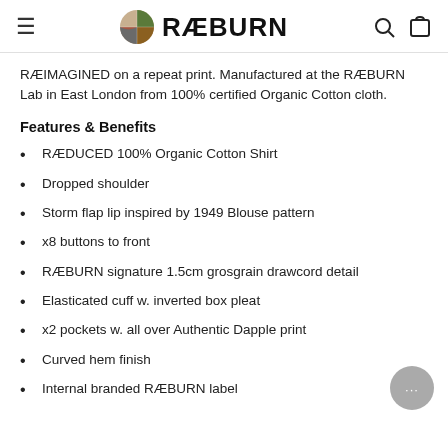≡  RÆBURN  🔍  🛍
RÆIMAGINED on a repeat print. Manufactured at the RÆBURN Lab in East London from 100% certified Organic Cotton cloth.
Features & Benefits
RÆDUCED 100% Organic Cotton Shirt
Dropped shoulder
Storm flap lip inspired by 1949 Blouse pattern
x8 buttons to front
RÆBURN signature 1.5cm grosgrain drawcord detail
Elasticated cuff w. inverted box pleat
x2 pockets w. all over Authentic Dapple print
Curved hem finish
Internal branded RÆBURN label